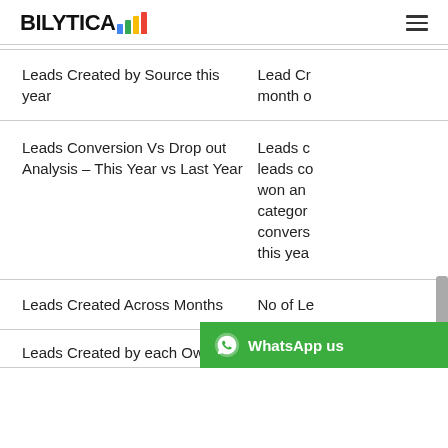BILYTICA (logo with bar chart icon)
Leads Created by Source this year
Lead Cr... month o...
Leads Conversion Vs Drop out Analysis – This Year vs Last Year
Leads c... leads co... won an... categor... convers... this yea...
Leads Created Across Months
No of Le...
Leads Created by each Ow...
WhatsApp us